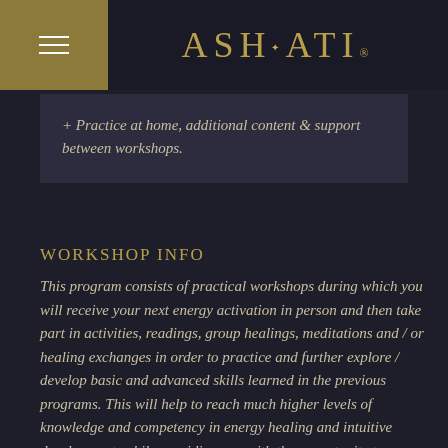[Figure (logo): ASHATI logo with gold text and decorative star above the letter A, on dark background]
+ Practice at home, additional content & support between workshops.
WORKSHOP INFO
This program consists of practical workshops during which you will receive your next energy activation in person and then take part in activities, readings, group healings, meditations and / or healing exchanges in order to practice and further explore / develop basic and advanced skills learned in the previous programs. This will help to reach much higher levels of knowledge and competency in energy healing and intuitive development, while providing you with the opportunity to go much deeper in your healing